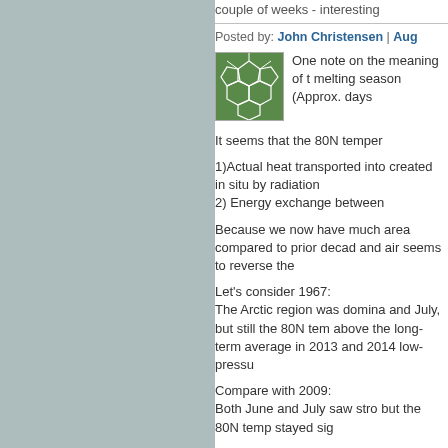couple of weeks - interesting
Posted by: John Christensen | Aug
[Figure (photo): Green avatar icon with geometric pattern resembling a soccer ball]
One note on the meaning of t melting season (Approx. days
It seems that the 80N temper
1)Actual heat transported into created in situ by radiation
2) Energy exchange between
Because we now have much area compared to prior decad and air seems to reverse the
Let's consider 1967:
The Arctic region was domina and July, but still the 80N tem above the long-term average in 2013 and 2014 low-pressu
Compare with 2009:
Both June and July saw stro but the 80N temp stayed sig